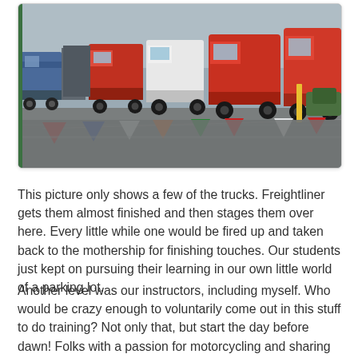[Figure (photo): Photograph of multiple semi-trucks (Freightliner) lined up in a parking lot with colorful triangular pennant banners strung in the foreground. The trucks are various colors including red, white, and orange. An overcast sky is visible in the background.]
This picture only shows a few of the trucks. Freightliner gets them almost finished and then stages them over here. Every little while one would be fired up and taken back to the mothership for finishing touches. Our students just kept on pursuing their learning in our own little world of a parking lot.
Another level was our instructors, including myself. Who would be crazy enough to voluntarily come out in this stuff to do training? Not only that, but start the day before dawn! Folks with a passion for motorcycling and sharing it. This isn't a job for us. We all have "real" jobs elsewhere. In fact